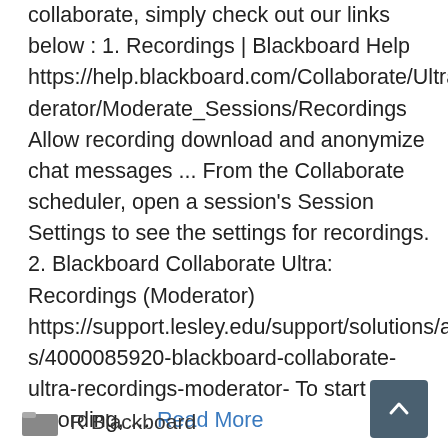collaborate, simply check out our links below : 1. Recordings | Blackboard Help https://help.blackboard.com/Collaborate/Ultra/Moderator/Moderate_Sessions/Recordings Allow recording download and anonymize chat messages ... From the Collaborate scheduler, open a session's Session Settings to see the settings for recordings. 2. Blackboard Collaborate Ultra: Recordings (Moderator) https://support.lesley.edu/support/solutions/articles/4000085920-blackboard-collaborate-ultra-recordings-moderator- To start recording, ... Read More
R Blackboard